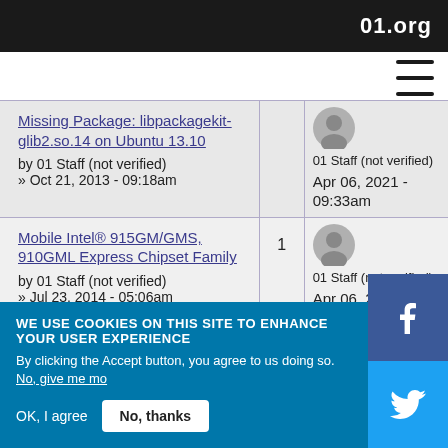01.org
Missing Package: libpackagekit-glib2.so.14 on Ubuntu 13.10 by 01 Staff (not verified) » Oct 21, 2013 - 09:18am
01 Staff (not verified)
Apr 06, 2021 - 09:33am
Mobile Intel® 915GM/GMS, 910GML Express Chipset Family by 01 Staff (not verified) » Jul 23, 2014 - 05:06am
1
01 Staff (not verified)
Apr 06, 2021 -
WE USE COOKIES ON THIS SITE TO ENHANCE YOUR USER EXPERIENCE
By clicking the Accept button, you agree to us doing so. No, give me mo…
OK, I agree    No, thanks